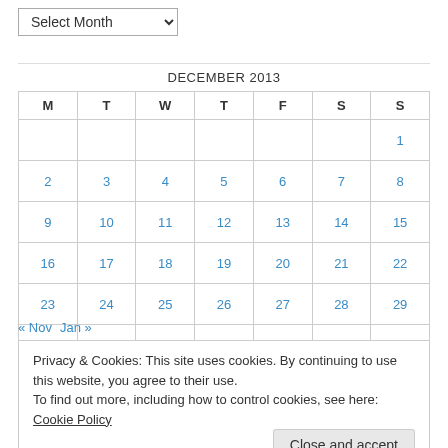Select Month (dropdown)
| M | T | W | T | F | S | S |
| --- | --- | --- | --- | --- | --- | --- |
|  |  |  |  |  |  | 1 |
| 2 | 3 | 4 | 5 | 6 | 7 | 8 |
| 9 | 10 | 11 | 12 | 13 | 14 | 15 |
| 16 | 17 | 18 | 19 | 20 | 21 | 22 |
| 23 | 24 | 25 | 26 | 27 | 28 | 29 |
| 30 | 31 |  |  |  |  |  |
« Nov   Jan »
Privacy & Cookies: This site uses cookies. By continuing to use this website, you agree to their use. To find out more, including how to control cookies, see here: Cookie Policy
Close and accept